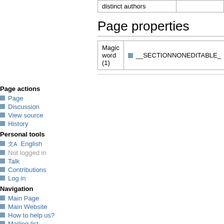| distinct authors |  |
Page properties
| Magic word (1) | __SECTIONNONEDITABLE_ |
| --- | --- |
Page actions
Page
Discussion
View source
History
Personal tools
English
Not logged in
Talk
Contributions
Log in
Navigation
Main Page
Main Website
How to help us?
Mailing list